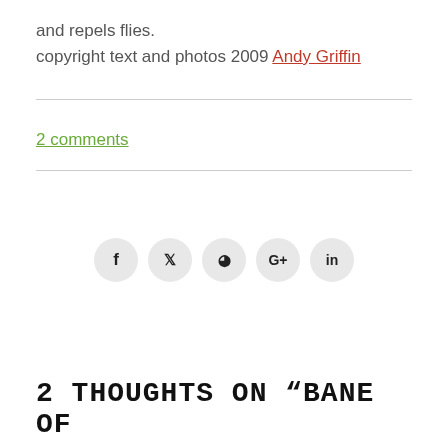and repels flies.
copyright text and photos 2009 Andy Griffin
2 comments
[Figure (infographic): Social media sharing icons: f (Facebook), bird/twitter, pinterest, G+, in (LinkedIn), each in a light grey circle]
2 THOUGHTS ON “BANE OF